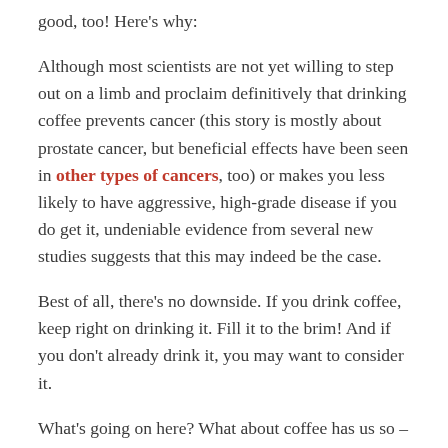good, too! Here's why:
Although most scientists are not yet willing to step out on a limb and proclaim definitively that drinking coffee prevents cancer (this story is mostly about prostate cancer, but beneficial effects have been seen in other types of cancers, too) or makes you less likely to have aggressive, high-grade disease if you do get it, undeniable evidence from several new studies suggests that this may indeed be the case.
Best of all, there's no downside. If you drink coffee, keep right on drinking it. Fill it to the brim! And if you don't already drink it, you may want to consider it.
What's going on here? What about coffee has us so – pardon the pun – perked up? Well, there's a